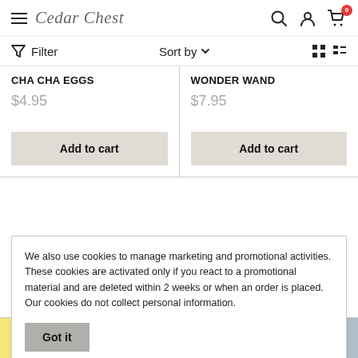Cedar Chest — navigation bar with hamburger menu, logo, search, account, cart (0)
Filter   Sort by ▾   grid/list view icons
CHA CHA EGGS
$4.95
Add to cart
WONDER WAND
$7.95
Add to cart
We also use cookies to manage marketing and promotional activities. These cookies are activated only if you react to a promotional material and are deleted within 2 weeks or when an order is placed.  Our cookies do not collect personal information.
Got it